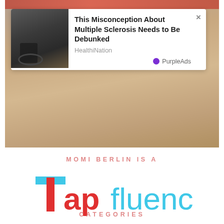[Figure (screenshot): Advertisement popup overlay on a photo background. The ad shows a thumbnail image of a person in a wheelchair, with headline 'This Misconception About Multiple Sclerosis Needs to Be Debunked', source 'HealthiNation', and 'PurpleAds' branding with purple circle icon. A close (×) button is visible in the top-right corner of the popup.]
MOMI BERLIN IS A
[Figure (logo): Tapfluencer logo: 'Tap' in red/coral color and 'fluencer' in cyan/light blue color, with a stylized T icon in red and blue at the start.]
CATEGORIES